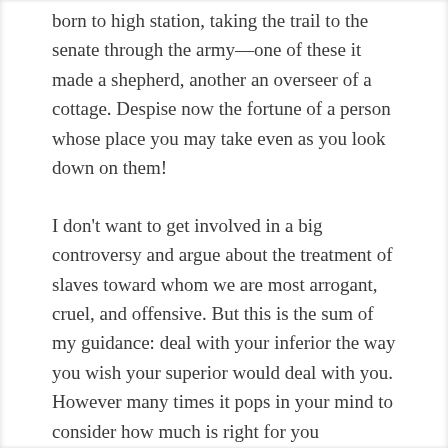born to high station, taking the trail to the senate through the army—one of these it made a shepherd, another an overseer of a cottage. Despise now the fortune of a person whose place you may take even as you look down on them!
I don't want to get involved in a big controversy and argue about the treatment of slaves toward whom we are most arrogant, cruel, and offensive. But this is the sum of my guidance: deal with your inferior the way you wish your superior would deal with you. However many times it pops in your mind to consider how much is right for you regarding your slave, let it also occur that this is